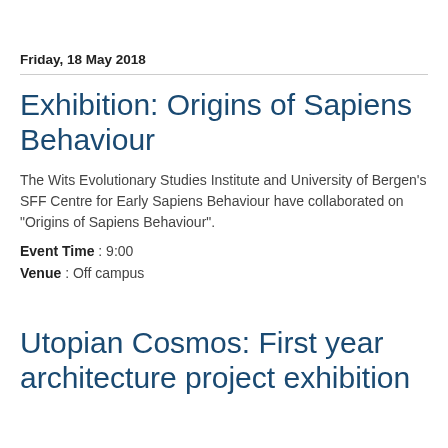Friday, 18 May 2018
Exhibition: Origins of Sapiens Behaviour
The Wits Evolutionary Studies Institute and University of Bergen's SFF Centre for Early Sapiens Behaviour have collaborated on "Origins of Sapiens Behaviour".
Event Time : 9:00
Venue : Off campus
Utopian Cosmos: First year architecture project exhibition